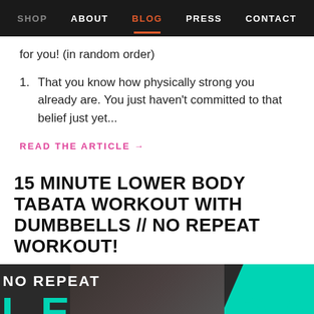SHOP  ABOUT  BLOG  PRESS  CONTACT
for you! (in random order)
1. That you know how physically strong you already are. You just haven't committed to that belief just yet...
READ THE ARTICLE →
15 MINUTE LOWER BODY TABATA WORKOUT WITH DUMBBELLS // NO REPEAT WORKOUT!
[Figure (photo): Fitness blog image showing a woman in workout position with 'NO REPEAT' text overlay and teal colored graphic elements]